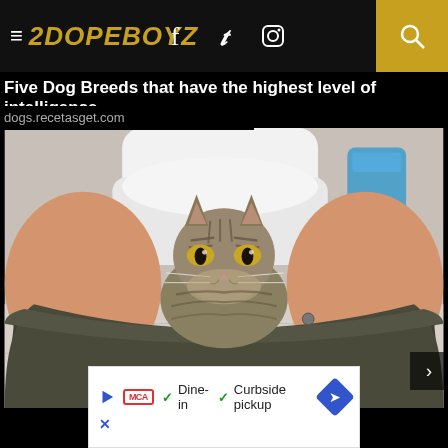2DOPEBOYZ
Five Dog Breeds that have the highest level of intelligence
dogs.recetasget.com
[Figure (photo): A tabby cat sitting between the legs of a person seated on a toilet, nestled inside dropped pants/jeans in a bathroom setting.]
Dine-in  Curbside pickup